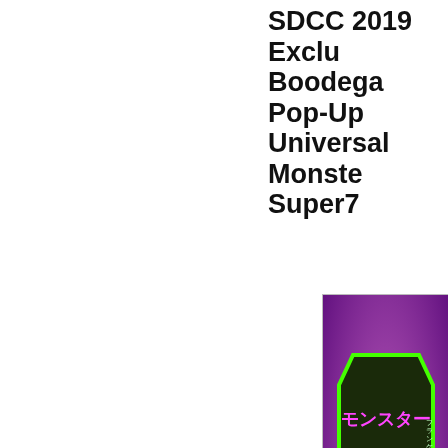SDCC 2019 Exclu Boodega Pop-Up Universal Monste Super7
[Figure (photo): Product packaging photo of a Universal Monsters Frankenstein figure in Japanese kaiju-style coffin-shaped card with bright neon green and purple design, Japanese text reading 'Monster' and 'Frankenstein', glowing figure inside coffin blister against purple background.]
The Terror Returns! Super7 is Universal Monsters at San Die pop-up event! The abomination (July 17th) with the opening o takes over the Super7 San Di